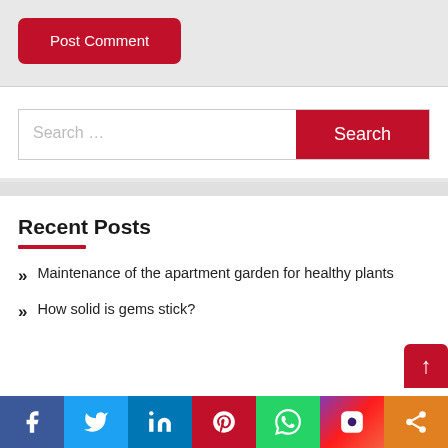Post Comment
Search ...
Search
Recent Posts
Maintenance of the apartment garden for healthy plants
How solid is gems stick?